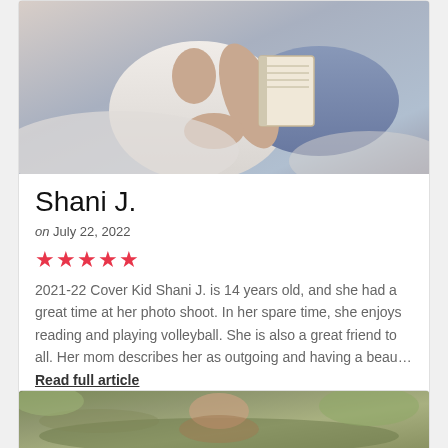[Figure (photo): Person in white t-shirt and jeans reading a book while reclining]
Shani J.
on July 22, 2022
[Figure (other): 5 red stars rating]
2021-22 Cover Kid Shani J. is 14 years old, and she had a great time at her photo shoot. In her spare time, she enjoys reading and playing volleyball. She is also a great friend to all. Her mom describes her as outgoing and having a beau… Read full article
[Figure (photo): Person sitting on a mossy tree branch outdoors with foliage in background]